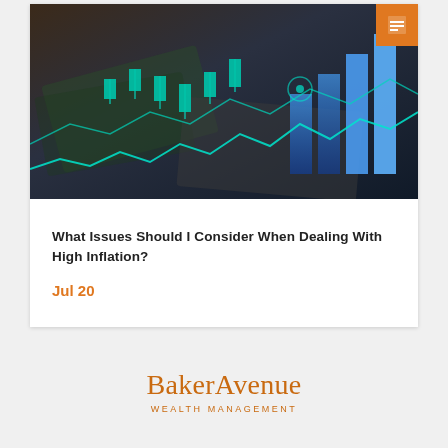[Figure (photo): Hero image showing US dollar bills overlaid with financial stock market chart graphics in blue/teal tones, with candlestick charts and rising bar graphs. An orange document icon badge appears in the top-right corner.]
What Issues Should I Consider When Dealing With High Inflation?
Jul 20
[Figure (logo): Baker Avenue Wealth Management logo in orange/copper color. 'Baker Avenue' in serif font, 'WEALTH MANAGEMENT' in small caps below.]